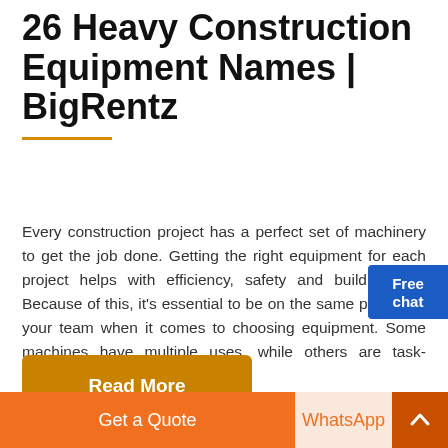26 Heavy Construction Equipment Names | BigRentz
Every construction project has a perfect set of machinery to get the job done. Getting the right equipment for each project helps with efficiency, safety and build quality. Because of this, it's essential to be on the same page with your team when it comes to choosing equipment. Some machines have multiple uses, while others are task-specific.
[Figure (other): Golden/amber colored 'Read More' button]
[Figure (other): Bottom navigation bar with 'Get a Quote' (orange), 'WhatsApp' (light peach), and up-arrow (dark orange) buttons]